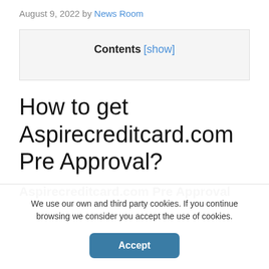August 9, 2022 by News Room
Contents [show]
How to get Aspirecreditcard.com Pre Approval?
Aspirecreditcard.com Pre Approval
We use our own and third party cookies. If you continue browsing we consider you accept the use of cookies.